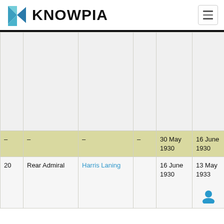KNOWPIA
| – | – | – | – | 30 May 1930 | 16 June 1930 |
| 20 | Rear Admiral | Harris Laning |  | 16 June 1930 | 13 May 1933 |